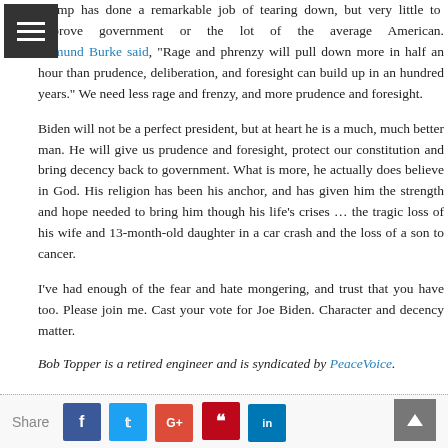Trump has done a remarkable job of tearing down, but very little to improve government or the lot of the average American. Edmund Burke said, “Rage and phrenzy will pull down more in half an hour than prudence, deliberation, and foresight can build up in an hundred years.” We need less rage and frenzy, and more prudence and foresight.
Biden will not be a perfect president, but at heart he is a much, much better man. He will give us prudence and foresight, protect our constitution and bring decency back to government. What is more, he actually does believe in God. His religion has been his anchor, and has given him the strength and hope needed to bring him though his life’s crises … the tragic loss of his wife and 13-month-old daughter in a car crash and the loss of a son to cancer.
I’ve had enough of the fear and hate mongering, and trust that you have too. Please join me. Cast your vote for Joe Biden. Character and decency matter.
Bob Topper is a retired engineer and is syndicated by PeaceVoice.